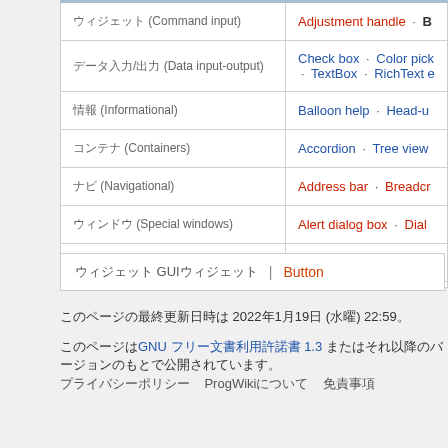| Category | Items |
| --- | --- |
| ウィジェット (Command input) | Adjustment handle · B… |
| 入力/出力 (Data input-output) | Check box · Color pick… · TextBox · RichText e… |
| 情報 (Informational) | Balloon help · Head-u… |
| コンテナ (Containers) | Accordion · Tree view |
| ナビゲーション (Navigational) | Address bar · Breadcr… |
| ウィンドウ (Special windows) | Alert dialog box · Dial… |
| 関連概念 (Related concepts) | File viewer · List of gra… |
ウィジェット GUIウィジェット | Button
このページの最終更新日時は 2022年1月19日 (水曜) 22:59。
このページはGNU フリー文書利用許諾書 1.3 またはそれ以降のバージョンのもとで公開されています。
プライバシーポリシー　ProgWikiについて　免責事項